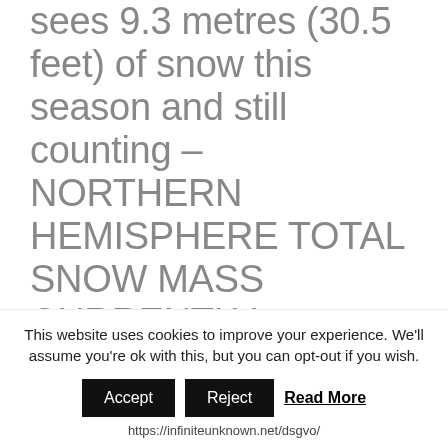sees 9.3 metres (30.5 feet) of snow this season and still counting – NORTHERN HEMISPHERE TOTAL SNOW MASS CURRENTLY RUNNING 300 GIGATONS ABOVE THE 1982-2012 AVERAGE – 4 metres (13 feet) of snow in 3 weeks at Glencoe Mountain Resort in
This website uses cookies to improve your experience. We'll assume you're ok with this, but you can opt-out if you wish.
Accept  Reject  Read More
https://infiniteunknown.net/dsgvo/